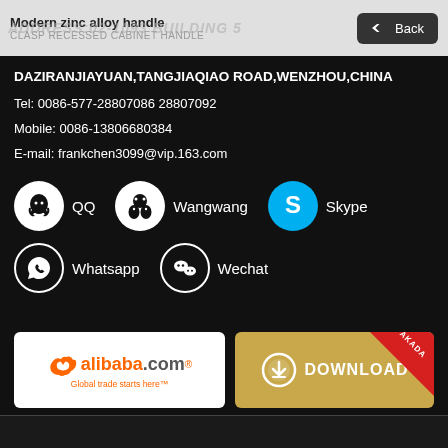Modern zinc alloy handle / CLASP RECESSED CABINET HANDLE
DAZIRANJIAYUAN,TANGJIAQIAO ROAD,WENZHOU,CHINA
Tel: 0086-577-28807086 28807092
Mobile: 0086-13806680384
E-mail: frankchen3099@vip.163.com
[Figure (infographic): Social media contact icons: QQ, Wangwang, Skype, Whatsapp, Wechat]
[Figure (logo): Alibaba.com logo - Global trade starts here]
[Figure (infographic): Download button with AKADA badge]